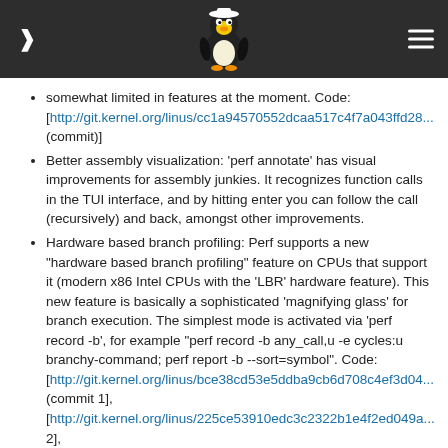Linux kernel page header with Tux logo
somewhat limited in features at the moment. Code: [http://git.kernel.org/linus/cc1a94570552dcaa517c4f7a043ffd28... (commit)]
Better assembly visualization: 'perf annotate' has visual improvements for assembly junkies. It recognizes function calls in the TUI interface, and by hitting enter you can follow the call (recursively) and back, amongst other improvements.
Hardware based branch profiling: Perf supports a new "hardware based branch profiling" feature on CPUs that support it (modern x86 Intel CPUs with the 'LBR' hardware feature). This new feature is basically a sophisticated 'magnifying glass' for branch execution. The simplest mode is activated via 'perf record -b', for example "perf record -b any_call,u -e cycles:u branchy-command; perf report -b --sort=symbol". Code: [http://git.kernel.org/linus/bce38cd53e5ddba9cb6d708c4ef3d04... (commit 1], [http://git.kernel.org/linus/225ce53910edc3c2322b1e4f2ed049a... 2],